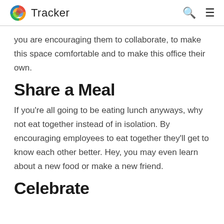Tracker
you are encouraging them to collaborate, to make this space comfortable and to make this office their own.
Share a Meal
If you're all going to be eating lunch anyways, why not eat together instead of in isolation. By encouraging employees to eat together they'll get to know each other better. Hey, you may even learn about a new food or make a new friend.
Celebrate